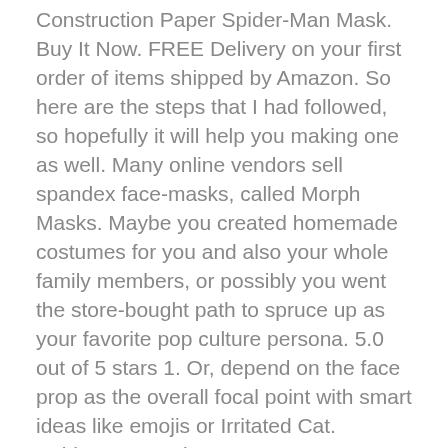Construction Paper Spider-Man Mask. Buy It Now. FREE Delivery on your first order of items shipped by Amazon. So here are the steps that I had followed, so hopefully it will help you making one as well. Many online vendors sell spandex face-masks, called Morph Masks. Maybe you created homemade costumes for you and also your whole family members, or possibly you went the store-bought path to spruce up as your favorite pop culture persona. 5.0 out of 5 stars 1. Or, depend on the face prop as the overall focal point with smart ideas like emojis or Irritated Cat. Spiderman mask, £11.87, Etsy. (adsbygoogle = window.adsbygoogle || []).push({}): CoolandFantastic, we offer practical, real-life tips and inspiration to help you make your best home. This DIY hair mask treatment is best for when you have an overripe banana hanging around in the kitchen area that you do not intend to waste. DIY Spider Man Mask; 10. D I Y Marvel Masks Halloween With Hannah Hannah Marie, 23. Did you make this project? CDN$ 39.90 CDN$ 39. You'll require half a sheet of black glitter felt, scrap items of grey as well as pink felt,